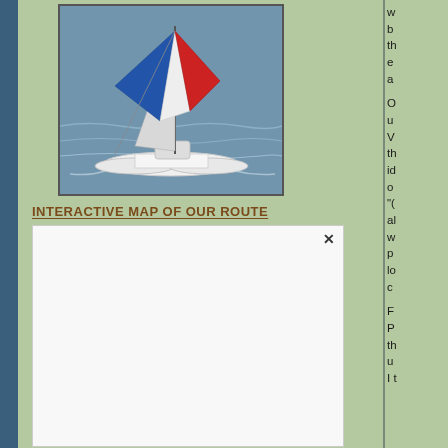[Figure (photo): Aerial photo of a white catamaran sailboat with blue and red spinnaker sail, sailing on grey-blue water]
INTERACTIVE MAP OF OUR ROUTE
[Figure (screenshot): White empty map box with a close (x) button in the top right corner]
w b th e a
O u V th id o "( al w p lo c
F P th u I t